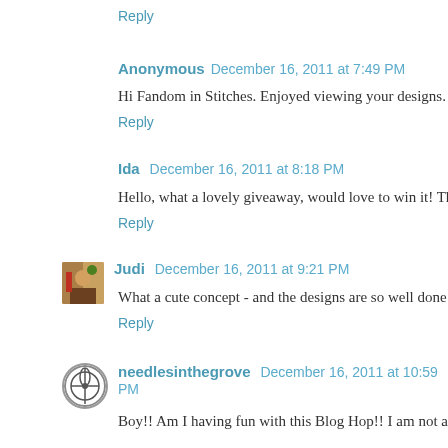Reply
Anonymous  December 16, 2011 at 7:49 PM
Hi Fandom in Stitches. Enjoyed viewing your designs. Thank...
Reply
Ida  December 16, 2011 at 8:18 PM
Hello, what a lovely giveaway, would love to win it! Thank ye...
Reply
Judi  December 16, 2011 at 9:21 PM
What a cute concept - and the designs are so well done! LOV...
Reply
needlesinthegrove  December 16, 2011 at 10:59 PM
Boy!! Am I having fun with this Blog Hop!! I am not a TOT...